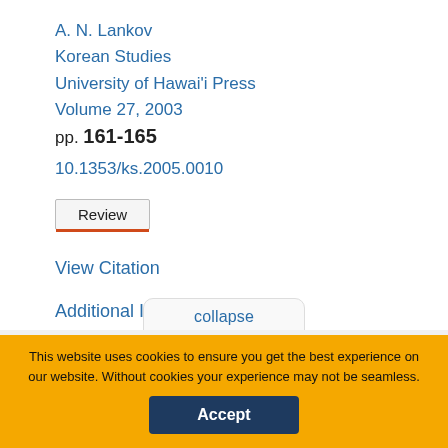A. N. Lankov
Korean Studies
University of Hawai'i Press
Volume 27, 2003
pp. 161-165
10.1353/ks.2005.0010
Review
View Citation
Additional Information
collapse
You are not currently authenticated.
If you would like to authenticate using a different subscribed institution or
This website uses cookies to ensure you get the best experience on our website. Without cookies your experience may not be seamless.
Accept